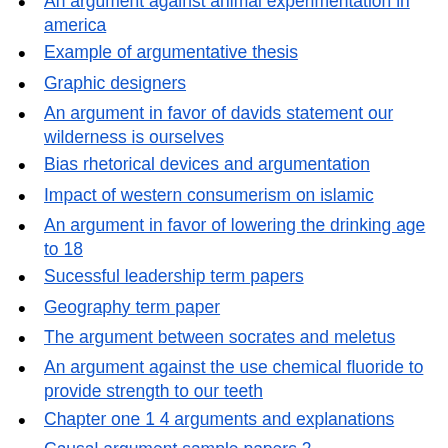An argument against animal experimentation in america
Example of argumentative thesis
Graphic designers
An argument in favor of davids statement our wilderness is ourselves
Bias rhetorical devices and argumentation
Impact of western consumerism on islamic
An argument in favor of lowering the drinking age to 18
Sucessful leadership term papers
Geography term paper
The argument between socrates and meletus
An argument against the use chemical fluoride to provide strength to our teeth
Chapter one 1 4 arguments and explanations
Causal argument sample papers 2
Basketball and football argument paper